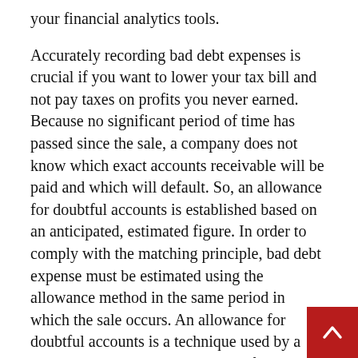your financial analytics tools.
Accurately recording bad debt expenses is crucial if you want to lower your tax bill and not pay taxes on profits you never earned. Because no significant period of time has passed since the sale, a company does not know which exact accounts receivable will be paid and which will default. So, an allowance for doubtful accounts is established based on an anticipated, estimated figure. In order to comply with the matching principle, bad debt expense must be estimated using the allowance method in the same period in which the sale occurs. An allowance for doubtful accounts is a technique used by a business to show the total amount from the goods or products it has sold that it does not expect to receive payments for.